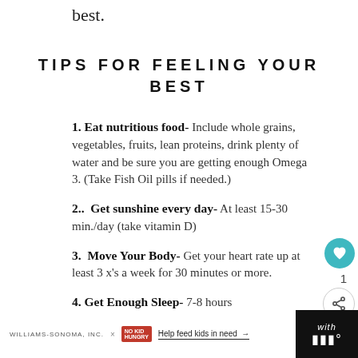best.
TIPS FOR FEELING YOUR BEST
1. Eat nutritious food- Include whole grains, vegetables, fruits, lean proteins, drink plenty of water and be sure you are getting enough Omega 3. (Take Fish Oil pills if needed.)
2..  Get sunshine every day- At least 15-30 min./day (take vitamin D)
3.  Move Your Body- Get your heart rate up at least 3 x's a week for 30 minutes or more.
4. Get Enough Sleep- 7-8 hours
WILLIAMS-SONOMA, INC. × NO KID HUNGRY  Help feed kids in need →